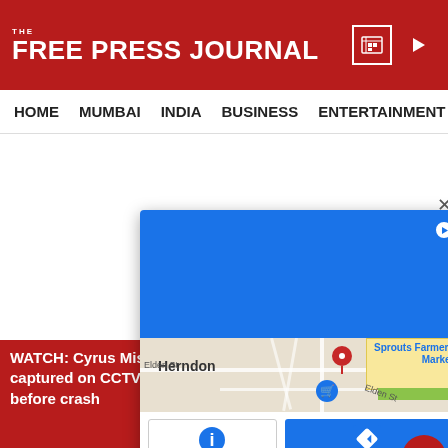THE FREE PRESS JOURNAL
HOME  MUMBAI  INDIA  BUSINESS  ENTERTAINMENT  SPO
[Figure (map): Google Maps popup showing Herndon area with Sprouts Farmers Market marker, blue tile advertisement area on top, info and directions buttons at bottom]
WATCH: Cyrus Mistry's car captured on CCTV moments before crash
[Figure (photo): Thumbnail image of crashed car with caption: WATCH: Cyrus Mistry's car captured on CCTV moments before crash]